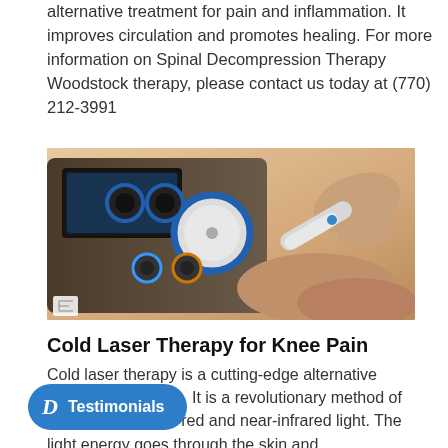alternative treatment for pain and inflammation. It improves circulation and promotes healing. For more information on Spinal Decompression Therapy Woodstock therapy, please contact us today at (770) 212-3991
[Figure (photo): A cold laser therapy device with knobs and dials on a control panel, with a practitioner applying a laser handpiece to a patient's knee]
Cold Laser Therapy for Knee Pain
Cold laser therapy is a cutting-edge alternative medicine treatment. It is a revolutionary method of using low levels of red and near-infrared light. The light energy goes through the skin and